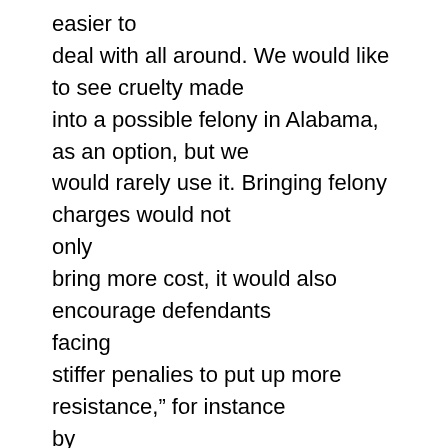easier to deal with all around. We would like to see cruelty made into a possible felony in Alabama, as an option, but we would rarely use it. Bringing felony charges would not only bring more cost, it would also encourage defendants facing stiffer penalies to put up more resistance,” for instance by bringing in top lawyers and filing counter-suits. Getting the maximum on a lot of misdemeanor convictions, Mansour believes, has more deterrent value than getting a light penalty imposed in a few felony cases. Mansour praises Judge Reeves, fellow municipal court judges Curtis Springer and Clark Campbell,